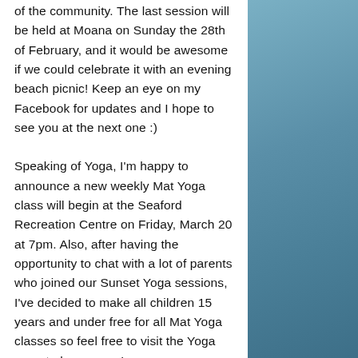of the community. The last session will be held at Moana on Sunday the 28th of February, and it would be awesome if we could celebrate it with an evening beach picnic! Keep an eye on my Facebook for updates and I hope to see you at the next one :)
Speaking of Yoga, I'm happy to announce a new weekly Mat Yoga class will begin at the Seaford Recreation Centre on Friday, March 20 at 7pm. Also, after having the opportunity to chat with a lot of parents who joined our Sunset Yoga sessions, I've decided to make all children 15 years and under free for all Mat Yoga classes so feel free to visit the Yoga page to learn more!
And finally, to my competition, football...